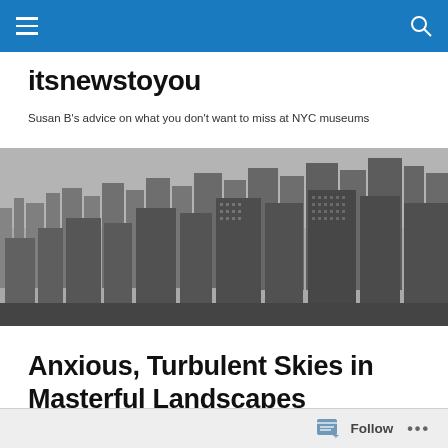Navigation bar with hamburger menu and search icon
itsnewstoyou
Susan B's advice on what you don't want to miss at NYC museums
[Figure (photo): Black and white aerial photograph of New York City skyline showing dense skyscrapers and buildings]
Anxious, Turbulent Skies in Masterful Landscapes
Follow  •••